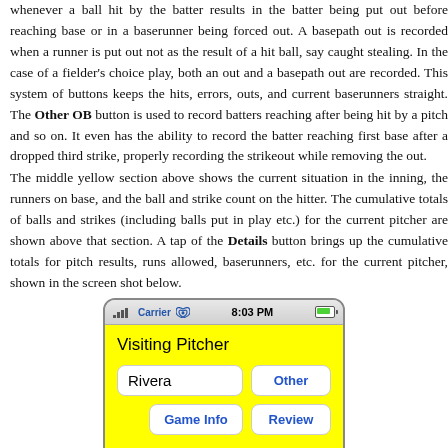whenever a ball hit by the batter results in the batter being put out before reaching base or in a baserunner being forced out. A basepath out is recorded when a runner is put out not as the result of a hit ball, say caught stealing. In the case of a fielder's choice play, both an out and a basepath out are recorded. This system of buttons keeps the hits, errors, outs, and current baserunners straight. The Other OB button is used to record batters reaching after being hit by a pitch and so on. It even has the ability to record the batter reaching first base after a dropped third strike, properly recording the strikeout while removing the out.
The middle yellow section above shows the current situation in the inning, the runners on base, and the ball and strike count on the hitter. The cumulative totals of balls and strikes (including balls put in play etc.) for the current pitcher are shown above that section. A tap of the Details button brings up the cumulative totals for pitch results, runs allowed, baserunners, etc. for the current pitcher, shown in the screen shot below.
[Figure (screenshot): iPhone screenshot showing 'Visiting Pitcher' screen with name field 'Rivera', buttons 'Other', 'Game Info', 'Review', and a green section at bottom showing Balls: 5, Strikes: 8]